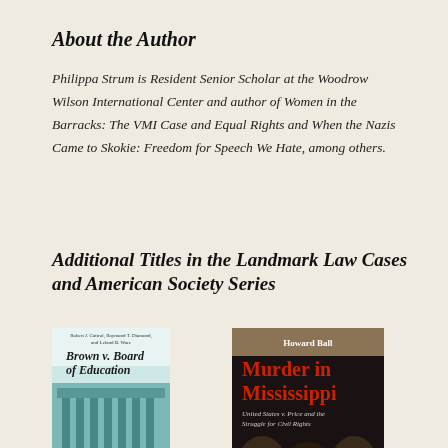About the Author
Philippa Strum is Resident Senior Scholar at the Woodrow Wilson International Center and author of Women in the Barracks: The VMI Case and Equal Rights and When the Nazis Came to Skokie: Freedom for Speech We Hate, among others.
Additional Titles in the Landmark Law Cases and American Society Series
[Figure (photo): Book cover of Brown v. Board of Education]
[Figure (photo): Book cover of Murder in Mississippi by Howard Ball, United States v. Price and the Struggle for Civil Rights]